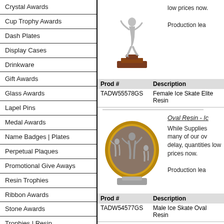Crystal Awards
Cup Trophy Awards
Dash Plates
Display Cases
Drinkware
Gift Awards
Glass Awards
Lapel Pins
Medal Awards
Name Badges | Plates
Perpetual Plaques
Promotional Give Aways
Resin Trophies
Ribbon Awards
Stone Awards
Trophies | Resin
Trophies | Traditional
[Figure (photo): Female ice skate elite resin trophy figure on a wooden base]
low prices now.

Production lea
| Prod # | Description |
| --- | --- |
| TADW55578GS | Female Ice Skate Elite Resin |
[Figure (photo): Oval resin plaque with male ice skate figures in silver/pewter finish with gold oval frame]
Oval Resin - Ic

While Supplies many of our ov delay, quantities low prices now.

Production lea
| Prod # | Description |
| --- | --- |
| TADW54577GS | Male Ice Skate Oval Resin |